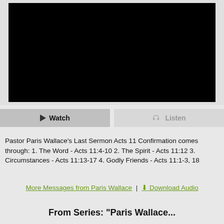[Figure (screenshot): Black video player screen]
[Figure (screenshot): Watch and Listen buttons. Watch button is darker/active, Listen button is lighter/inactive.]
Pastor Paris Wallace's Last Sermon Acts 11 Confirmation comes through: 1. The Word - Acts 11:4-10 2. The Spirit - Acts 11:12 3. Circumstances - Acts 11:13-17 4. Godly Friends - Acts 11:1-3, 18
More Messages from Paris Wallace | Download Audio
From Series: "Paris Wallace...